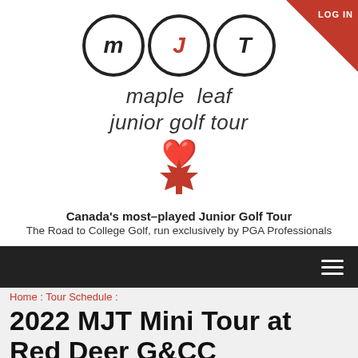[Figure (logo): Maple Leaf Junior Golf Tour logo with three circled letters M, J, T and italic brand name 'maple leaf junior golf tour' and a red maple leaf icon]
Canada's most-played Junior Golf Tour
The Road to College Golf, run exclusively by PGA Professionals
LOG IN
Home : Tour Schedule :
2022 MJT Mini Tour at Red Deer G&CC